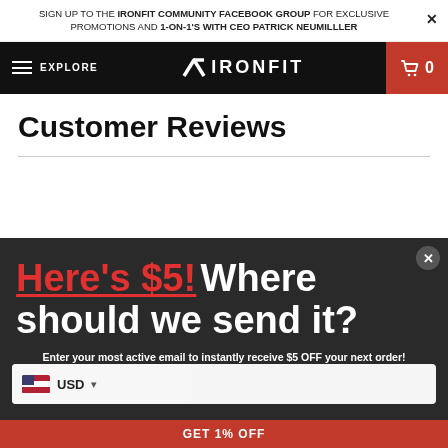SIGN UP TO THE IRONFIT COMMUNITY FACEBOOK GROUP FOR EXCLUSIVE PROMOTIONS AND 1-ON-1'S WITH CEO PATRICK NEUMILLLER
[Figure (screenshot): IronFit navigation bar with hamburger menu, EXPLORE text, V7 IRONFIT logo, and red cart button showing 0]
Customer Reviews
[Figure (screenshot): Modal popup on dark background with headline "Here's $5! Where should we send it?" in red and white bold text, subtitle asking to enter email for $5 OFF, an email input field, currency selector (USD with US flag), and a red GET % OFF button at bottom. Close X button in top right.]